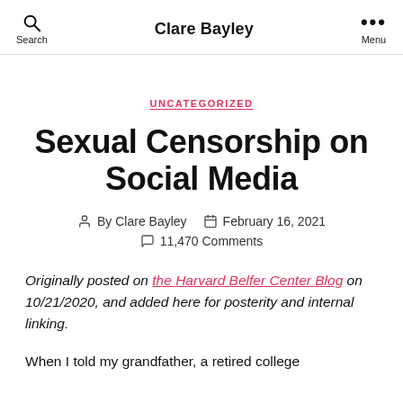Search | Clare Bayley | Menu
UNCATEGORIZED
Sexual Censorship on Social Media
By Clare Bayley  February 16, 2021  11,470 Comments
Originally posted on the Harvard Belfer Center Blog on 10/21/2020, and added here for posterity and internal linking.
When I told my grandfather, a retired college